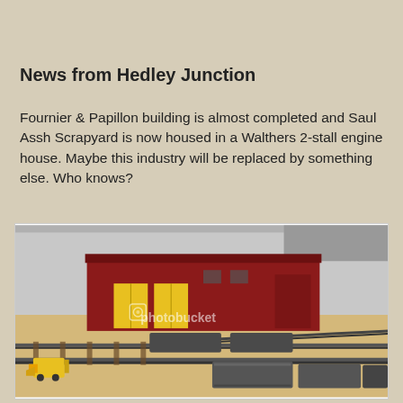News from Hedley Junction
Fournier & Papillon building is almost completed and Saul Assh Scrapyard is now housed in a Walthers 2-stall engine house. Maybe this industry will be replaced by something else. Who knows?
[Figure (photo): Model railroad layout showing a red engine house building with yellow doors, freight cars on tracks, and a yellow loader/vehicle. The layout is set on a beige/sand colored base with grey walls in the background.]